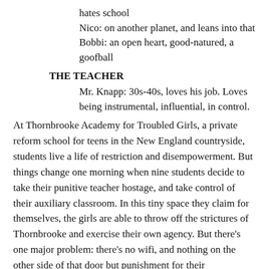hates school
Nico: on another planet, and leans into that
Bobbi: an open heart, good-natured, a goofball
THE TEACHER
Mr. Knapp: 30s-40s, loves his job. Loves being instrumental, influential, in control.
At Thornbrooke Academy for Troubled Girls, a private reform school for teens in the New England countryside, students live a life of restriction and disempowerment. But things change one morning when nine students decide to take their punitive teacher hostage, and take control of their auxiliary classroom. In this tiny space they claim for themselves, the girls are able to throw off the strictures of Thornbrooke and exercise their own agency. But there's one major problem: there's no wifi, and nothing on the other side of that door but punishment for their